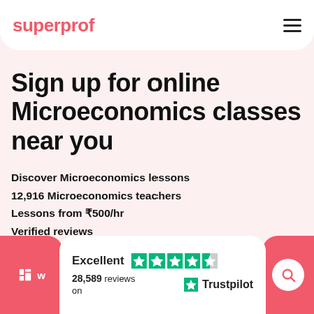superprof
Sign up for online Microeconomics classes near you
Discover Microeconomics lessons
12,916 Microeconomics teachers
Lessons from ₹500/hr
Verified reviews
Excellent  28,589 reviews on  Trustpilot